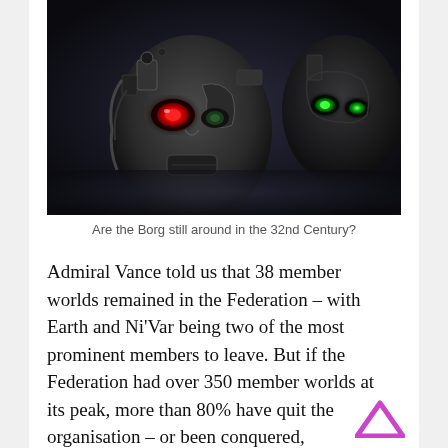[Figure (photo): Dark cinematic image of two Borg-like cyborg figures in close-up, one with a glowing red eye and the other with green eyes, both appearing mechanical and menacing against a dark background.]
Are the Borg still around in the 32nd Century?
Admiral Vance told us that 38 member worlds remained in the Federation – with Earth and Ni'Var being two of the most prominent members to leave. But if the Federation had over 350 member worlds at its peak, more than 80% have quit the organisation – or been conquered, destroyed, or had some other fate befall them. Barzan II appears to remain a Federation member, as does Kaminar. It's possible based on the Season 4 trailer that Ni'Var will rejoin the organisation – but what of